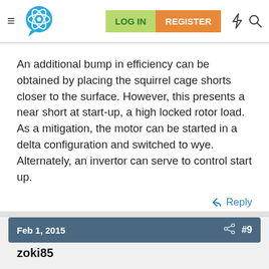[Figure (screenshot): Navigation bar with hamburger menu, atom/brain logo, LOG IN button (green), REGISTER button (orange), lightning bolt icon, and search icon]
An additional bump in efficiency can be obtained by placing the squirrel cage shorts closer to the surface. However, this presents a near short at start-up, a high locked rotor load. As a mitigation, the motor can be started in a delta configuration and switched to wye. Alternately, an invertor can serve to control start up.
↩ Reply
Feb 1, 2015   #9
zoki85